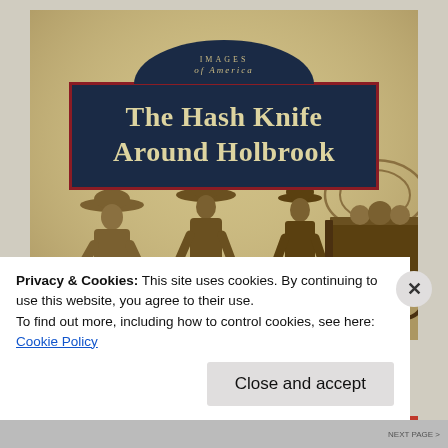[Figure (photo): Book cover of 'The Hash Knife Around Holbrook' from the Images of America series. Sepia-toned background with a dark navy sign displaying the title in cream letters. Three people wearing wide-brimmed hats stand in the lower portion, with a wagon or cart visible on the right.]
Privacy & Cookies: This site uses cookies. By continuing to use this website, you agree to their use.
To find out more, including how to control cookies, see here:
Cookie Policy